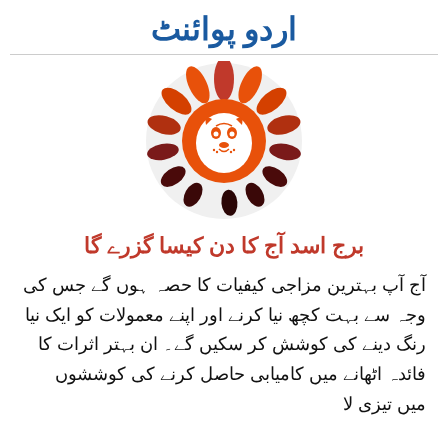اردو پوائنٹ
[Figure (logo): Leo zodiac sign illustration — orange and dark red lion face with flame-like mane, inside a white circle]
برج اسد آج کا دن کیسا گزرے گا
آج آپ بہترین مزاجی کیفیات کا حصہ ہوں گے جس کی وجہ سے بہت کچھ نیا کرنے اور اپنے معمولات کو ایک نیا رنگ دینے کی کوشش کر سکیں گے۔ ان بہتر اثرات کا فائدہ اٹھانے میں کامیابی حاصل کرنے کی کوششوں میں تیزی لا